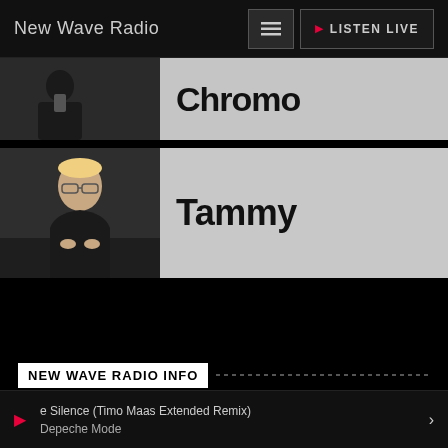New Wave Radio | LISTEN LIVE
[Figure (photo): Partially visible card with a person holding a phone, dark background, with truncated title text]
Tammy
NEW WAVE RADIO INFO
e Silence (Timo Maas Extended Remix) Depeche Mode